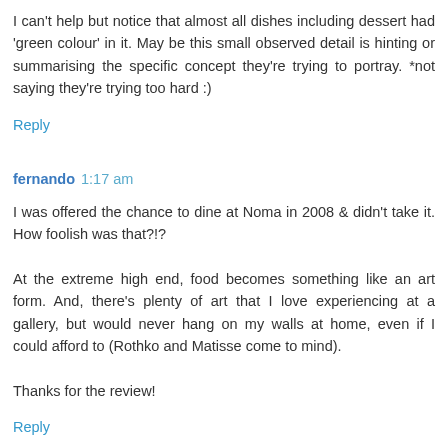I can't help but notice that almost all dishes including dessert had 'green colour' in it. May be this small observed detail is hinting or summarising the specific concept they're trying to portray. *not saying they're trying too hard :)
Reply
fernando 1:17 am
I was offered the chance to dine at Noma in 2008 & didn't take it. How foolish was that?!?
At the extreme high end, food becomes something like an art form. And, there's plenty of art that I love experiencing at a gallery, but would never hang on my walls at home, even if I could afford to (Rothko and Matisse come to mind).
Thanks for the review!
Reply